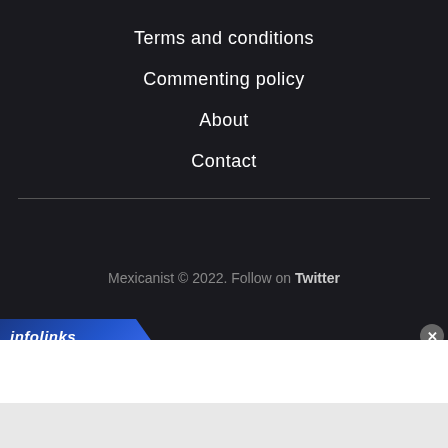Terms and conditions
Commenting policy
About
Contact
Mexicanist © 2022. Follow on Twitter
[Figure (screenshot): Infolinks advertisement bar at bottom with close button, white panel and gray panel below]